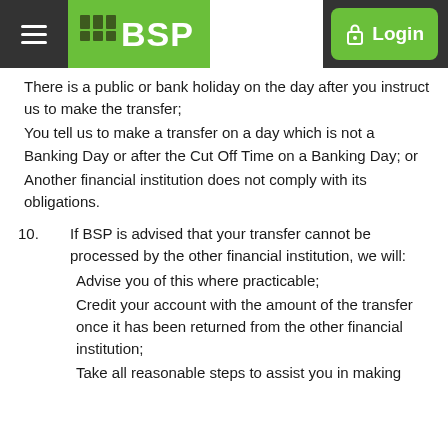BSP Login
There is a public or bank holiday on the day after you instruct us to make the transfer;
You tell us to make a transfer on a day which is not a Banking Day or after the Cut Off Time on a Banking Day; or
Another financial institution does not comply with its obligations.
10. If BSP is advised that your transfer cannot be processed by the other financial institution, we will:
Advise you of this where practicable;
Credit your account with the amount of the transfer once it has been returned from the other financial institution;
Take all reasonable steps to assist you in making the transfer as quickly as possible.